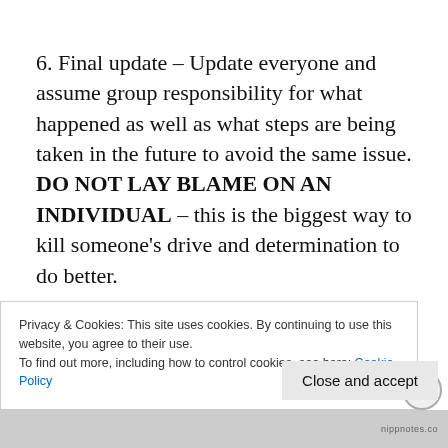6. Final update – Update everyone and assume group responsibility for what happened as well as what steps are being taken in the future to avoid the same issue. DO NOT LAY BLAME ON AN INDIVIDUAL – this is the biggest way to kill someone's drive and determination to do better.
7. Put it into practice – Take everything you've learned and actually put it into place. Nothing looks worse than having the same issue happen
Privacy & Cookies: This site uses cookies. By continuing to use this website, you agree to their use.
To find out more, including how to control cookies, see here: Cookie Policy
nippnotes.co